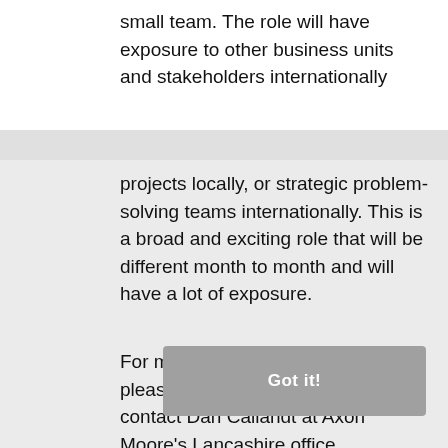small team. The role will have exposure to other business units and stakeholders internationally
projects locally, or strategic problem-solving teams internationally. This is a broad and exciting role that will be different month to month and will have a lot of exposure.
For more information about this role, please submit an application, or contact Dan Callandt at Axon Moore's Lancashire office.
Got it!